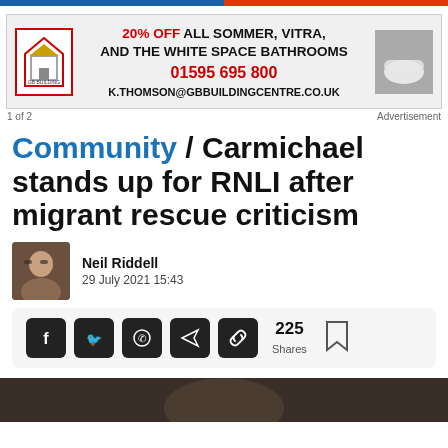[Figure (other): Advertisement banner for GB Building Centre: 20% OFF all Sommer, Vitra, and The White Space Bathrooms, phone 01595 695 800, email K.THOMSON@GBBUILDINGCENTRE.CO.UK]
1 of 2    Advertisement
Community / Carmichael stands up for RNLI after migrant rescue criticism
Neil Riddell
29 July 2021 15:43
225 Shares